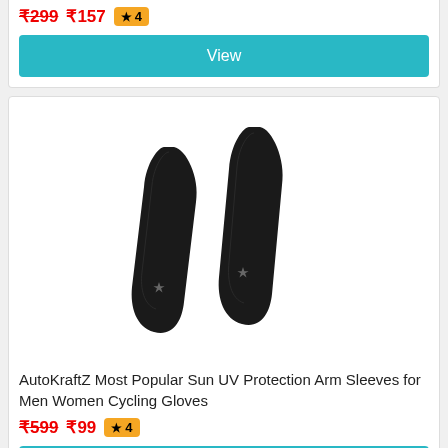₹299 ₹157 ★ 4
View
[Figure (photo): Two black arm sleeves with small logo marks, shown side by side on white background]
AutoKraftZ Most Popular Sun UV Protection Arm Sleeves for Men Women Cycling Gloves
₹599 ₹99 ★ 4
View